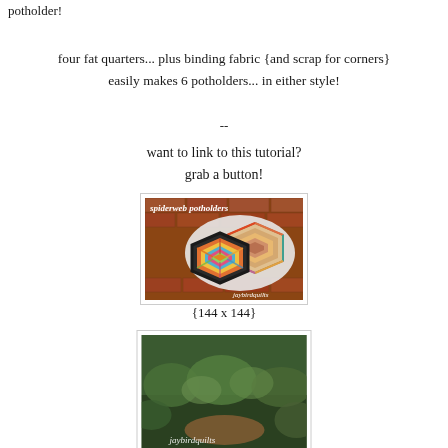potholder!
four fat quarters... plus binding fabric {and scrap for corners} easily makes 6 potholders... in either style!
--
want to link to this tutorial?
grab a button!
[Figure (photo): Spiderweb potholders image showing two hexagonal quilted potholders with colorful fabric strips in a spiderweb pattern, on a brick background. Text overlay reads 'spiderweb potholders' and 'jaybirdquilts'.]
{144 x 144}
[Figure (photo): Partially visible second image showing a green/garden background, likely another potholder variant.]